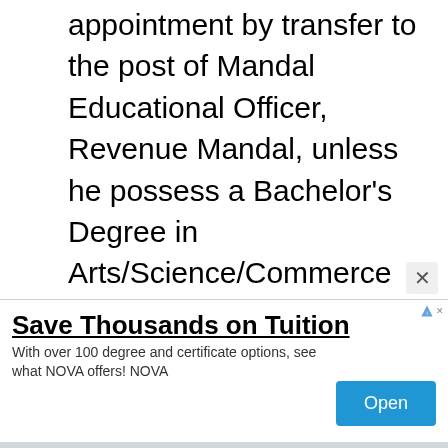appointment by transfer to the post of Mandal Educational Officer, Revenue Mandal, unless he possess a Bachelor's Degree in Arts/Science/Commerce and B.Ed. Degree from a University of India established or incorporated by or under a Central Act, Provincial Act or a State Act or an Institution recognized by the University Grants Commission or an equivalent qualification.
[Figure (other): Advertisement banner: 'Save Thousands on Tuition' with subtitle 'With over 100 degree and certificate options, see what NOVA offers! NOVA' and an Open button]